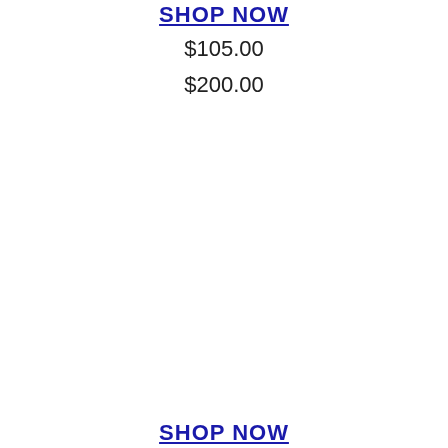SHOP NOW
$105.00
$200.00
SHOP NOW